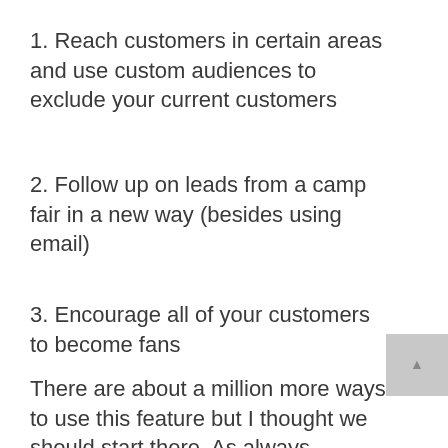1. Reach customers in certain areas and use custom audiences to exclude your current customers
2. Follow up on leads from a camp fair in a new way (besides using email)
3. Encourage all of your customers to become fans
There are about a million more ways to use this feature but I thought we should start there. As always, comment below or email me if you have